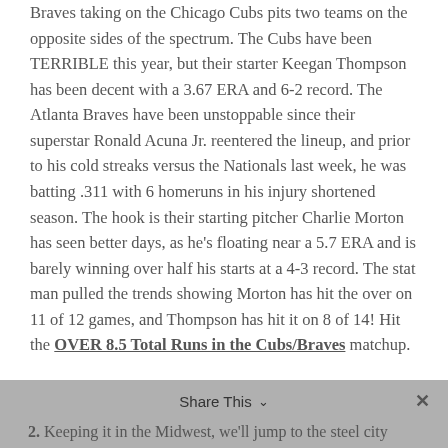Braves taking on the Chicago Cubs pits two teams on the opposite sides of the spectrum. The Cubs have been TERRIBLE this year, but their starter Keegan Thompson has been decent with a 3.67 ERA and 6-2 record. The Atlanta Braves have been unstoppable since their superstar Ronald Acuna Jr. reentered the lineup, and prior to his cold streaks versus the Nationals last week, he was batting .311 with 6 homeruns in his injury shortened season. The hook is their starting pitcher Charlie Morton has seen better days, as he's floating near a 5.7 ERA and is barely winning over half his starts at a 4-3 record. The stat man pulled the trends showing Morton has hit the over on 11 of 12 games, and Thompson has hit it on 8 of 14! Hit the OVER 8.5 Total Runs in the Cubs/Braves matchup.
Share This
2. Keeping it in the Midwest, we'll jump to the steel city